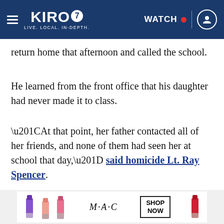KIRO 7 — LIVE. LOCAL. IN-DEPTH. | WATCH
return home that afternoon and called the school.
He learned from the front office that his daughter had never made it to class.
“At that point, her father contacted all of her friends, and none of them had seen her at school that day,” said homicide Lt. Ray Spencer.
[Figure (screenshot): Embedded video player with dark navy gradient background and close button]
[Figure (photo): MAC cosmetics advertisement showing lipsticks with SHOP NOW button]